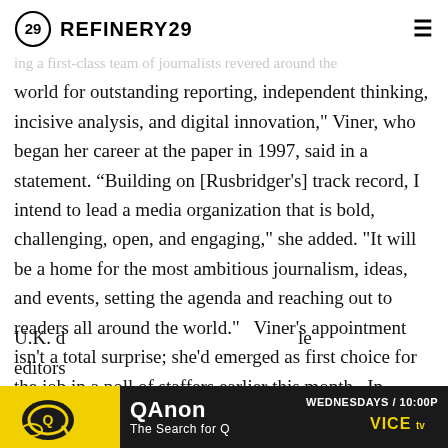REFINERY29
ing a first-class team of journalists revered around the world for outstanding reporting, independent thinking, incisive analysis, and digital innovation," Viner, who began her career at the paper in 1997, said in a statement. “Building on [Rusbridger's] track record, I intend to lead a media organization that is bold, challenging, open, and engaging," she added. "It will be a home for the most ambitious journalism, ideas, and events, setting the agenda and reaching out to readers all around the world."   Viner's appointment isn't a total surprise; she'd emerged as first choice for the job in a poll of staffers earlier this month.  In addition to being the first female editor-in-chief in the paper's history, she is also the only female editor of a major U.K. d…le editors…
[Figure (other): QAnon - The Search for Q advertisement banner. WEDNESDAYS / 10:00P. VICE TV logo.]